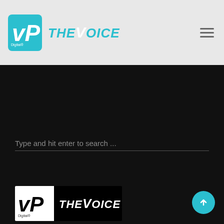[Figure (logo): VP Digital + THE VOICE logo in header bar on light grey background]
Type and hit enter to search ...
[Figure (logo): VP Digital + THE VOICE logo on black background in dark content area]
Thank you for visiting and we do hope you stay updated with us.